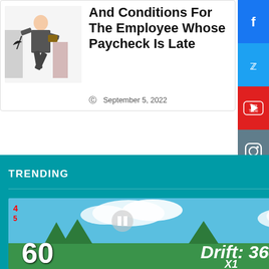[Figure (illustration): Cartoon illustration of a businessman being thrown or running, wearing a suit, with urban background]
And Conditions For The Employee Whose Paycheck Is Late
September 5, 2022
[Figure (screenshot): Facebook social share button - blue]
[Figure (screenshot): Twitter social share button - blue]
[Figure (screenshot): YouTube social share button - red]
[Figure (screenshot): Instagram social share button - gray]
TRENDING
[Figure (screenshot): Video game screenshot showing score 60, Drift: 368, X1 multiplier, POINT text, blue sky and trees background]